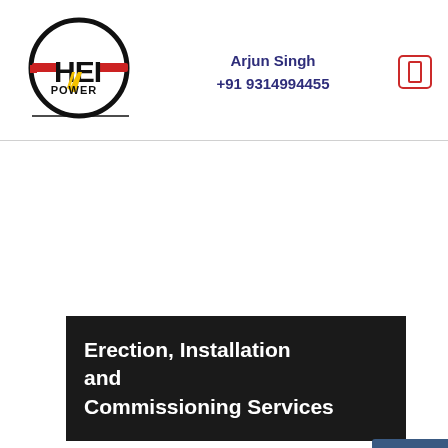[Figure (logo): HEI Power logo — circular black ring with bold red horizontal bar and yellow lightning bolt, text 'HEI' in black and 'POWER' below]
Arjun Singh
+91 9314994455
[Figure (other): Red-bordered rounded rectangle menu icon with small inner rectangle]
Erection, Installation and Commissioning Services
[Figure (other): Dark blue 'Top' button in bottom right corner]
We can be your partner for successful execution of your complete project by offering our commissioning services